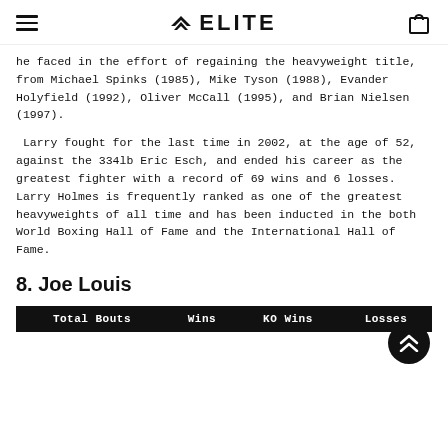ELITE
he faced in the effort of regaining the heavyweight title, from Michael Spinks (1985), Mike Tyson (1988), Evander Holyfield (1992), Oliver McCall (1995), and Brian Nielsen (1997).
Larry fought for the last time in 2002, at the age of 52, against the 334lb Eric Esch, and ended his career as the greatest fighter with a record of 69 wins and 6 losses. Larry Holmes is frequently ranked as one of the greatest heavyweights of all time and has been inducted in the both World Boxing Hall of Fame and the International Hall of Fame.
8. Joe Louis
| Total Bouts | Wins | KO Wins | Losses |
| --- | --- | --- | --- |